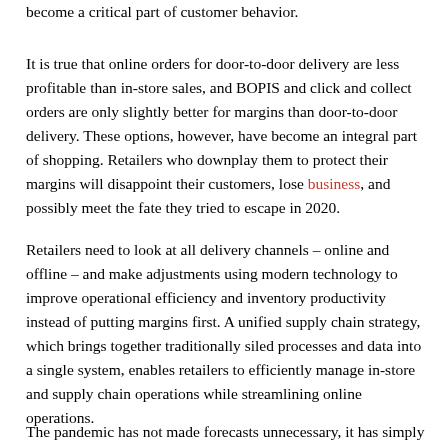become a critical part of customer behavior.
It is true that online orders for door-to-door delivery are less profitable than in-store sales, and BOPIS and click and collect orders are only slightly better for margins than door-to-door delivery. These options, however, have become an integral part of shopping. Retailers who downplay them to protect their margins will disappoint their customers, lose business, and possibly meet the fate they tried to escape in 2020.
Retailers need to look at all delivery channels – online and offline – and make adjustments using modern technology to improve operational efficiency and inventory productivity instead of putting margins first. A unified supply chain strategy, which brings together traditionally siled processes and data into a single system, enables retailers to efficiently manage in-store and supply chain operations while streamlining online operations.
The pandemic has not made forecasts unnecessary, it has simply